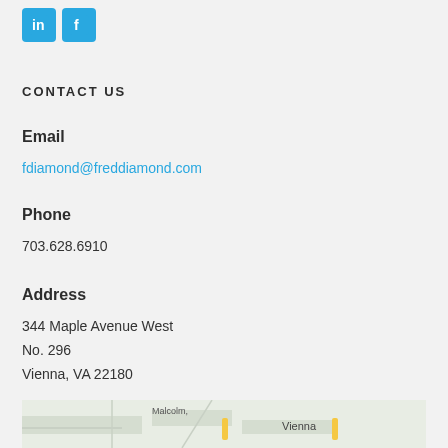[Figure (logo): LinkedIn and Facebook social media icon buttons in cyan/blue color]
CONTACT US
Email
fdiamond@freddiamond.com
Phone
703.628.6910
Address
344 Maple Avenue West
No. 296
Vienna, VA 22180
[Figure (map): Google Maps embed showing Vienna, VA area with street labels including Malcolm and Vienna label visible]